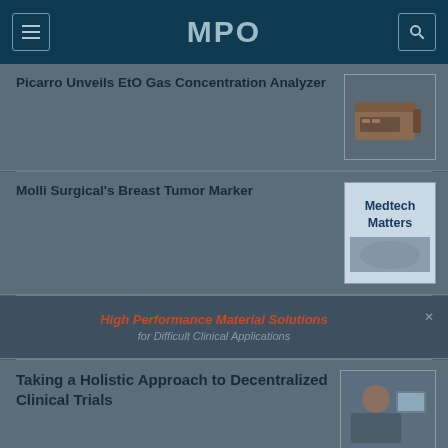MPO
Picarro Unveils EtO Gas Concentration Analyzer
[Figure (photo): Photo of Picarro EtO gas concentration analyzer device — a dark brown/tan rectangular instrument]
Molli Surgical's Breast Tumor Marker
[Figure (other): Medtech Matters advertisement box with blue text]
[Figure (other): Advertisement banner: High Performance Material Solutions for Difficult Clinical Applications]
Taking a Holistic Approach to Decentralized Clinical Trials
[Figure (photo): Photo related to decentralized clinical trials]
[Figure (other): AZCO advertisement: Make Your Own Medical Pouches on Demand!]